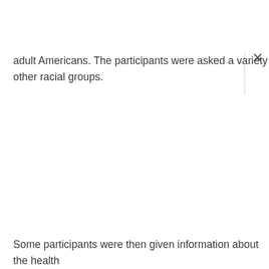adult Americans. The participants were asked a variety of questions, and responded to the “feeling thermometers” about other racial groups.
Some participants were then given information about the health